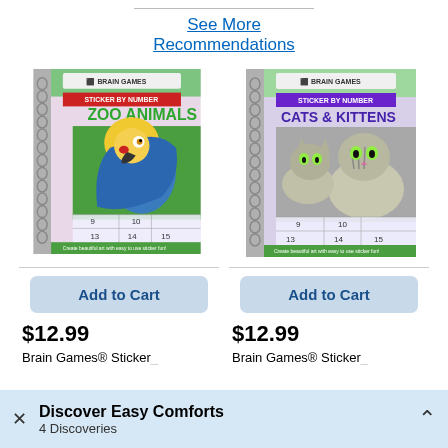See More Recommendations
[Figure (photo): Brain Games Sticker by Number Zoo Animals book cover with a macaw parrot photo and numbered sticker grid]
[Figure (photo): Brain Games Sticker by Number Cats & Kittens book cover with two kittens photo and numbered sticker grid]
Add to Cart
Add to Cart
$12.99
$12.99
Brain Games® Sticker
Brain Games® Sticker
Discover Easy Comforts
4 Discoveries